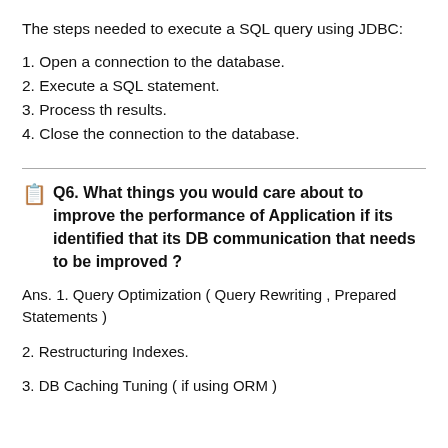The steps needed to execute a SQL query using JDBC:
1. Open a connection to the database.
2. Execute a SQL statement.
3. Process th results.
4. Close the connection to the database.
Q6. What things you would care about to improve the performance of Application if its identified that its DB communication that needs to be improved ?
Ans. 1. Query Optimization ( Query Rewriting , Prepared Statements )
2. Restructuring Indexes.
3. DB Caching Tuning ( if using ORM )